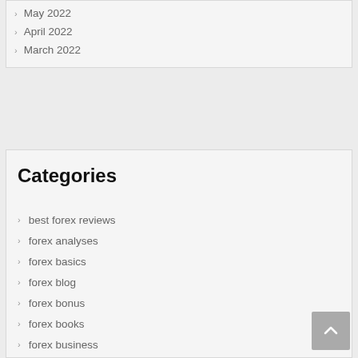May 2022
April 2022
March 2022
Categories
best forex reviews
forex analyses
forex basics
forex blog
forex bonus
forex books
forex business
forex daily
forex day trading
forex ea
forex education course